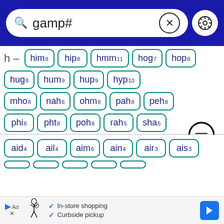[Figure (screenshot): Search bar with text 'gamp#', clear (X) button, and settings (gear) icon on dark blue background]
h– him8 hip8 hmm11 hog7 hop8
hug8 hum9 hup9 hyp10
mho8 nah6 ohm8 pah8 peh8
phi8 pht8 poh8 rah5 sha5
shh7 ugh8 wha8 yah7
aid4 ail4 aim6 ain4 air3 ais3
[Figure (screenshot): Partially visible second row of word tiles at bottom]
[Figure (screenshot): Ad banner: In-store shopping, Curbside pickup with polo player icon and blue arrow]